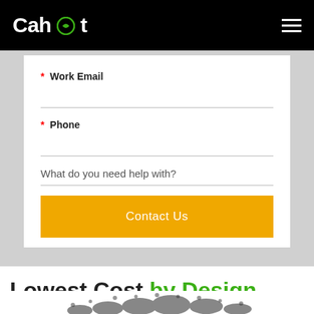Cahoot
* Work Email
* Phone
What do you need help with?
Contact Us
Lowest Cost by Design
[Figure (photo): Crowd of people at the bottom of the page, partially visible]